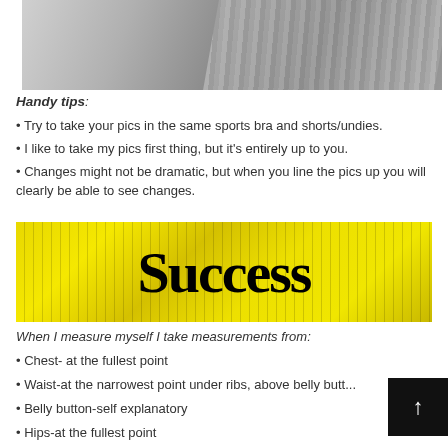[Figure (photo): Black and white photo of hands holding a measuring tape against a person's waist/abdomen area]
Handy tips:
• Try to take your pics in the same sports bra and shorts/undies.
• I like to take my pics first thing, but it's entirely up to you.
• Changes might not be dramatic, but when you line the pics up you will clearly be able to see changes.
[Figure (photo): Image showing the word 'Success' in large bold serif font overlaid on yellow measuring tapes]
When I measure myself I take measurements from:
• Chest- at the fullest point
• Waist-at the narrowest point under ribs, above belly butt...
• Belly button-self explanatory
• Hips-at the fullest point